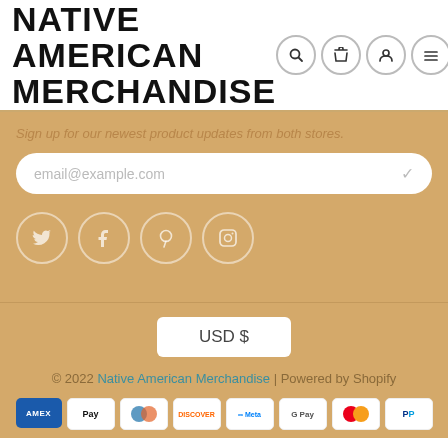NATIVE AMERICAN MERCHANDISE
[Figure (screenshot): Header icons: search, cart, user, menu]
Sign up for our newest product updates from both stores.
email@example.com
[Figure (infographic): Social media icons: Twitter, Facebook, Pinterest, Instagram]
USD $
© 2022 Native American Merchandise | Powered by Shopify
[Figure (infographic): Payment method icons: AMEX, Apple Pay, Diners Club, Discover, Meta Pay, Google Pay, Mastercard, PayPal]